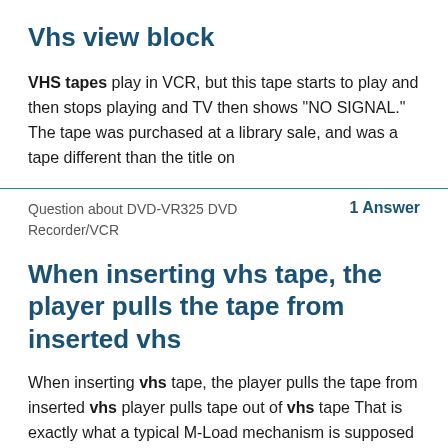Vhs view block
VHS tapes play in VCR, but this tape starts to play and then stops playing and TV then shows "NO SIGNAL." The tape was purchased at a library sale, and was a tape different than the title on
Question about DVD-VR325 DVD Recorder/VCR
1 Answer
When inserting vhs tape, the player pulls the tape from inserted vhs
When inserting vhs tape, the player pulls the tape from inserted vhs player pulls tape out of vhs tape That is exactly what a typical M-Load mechanism is supposed to do. Once the VHS tape cassette is ...